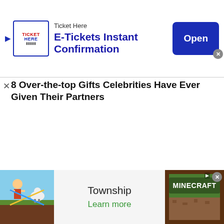[Figure (screenshot): Top advertisement banner for Ticket Here: E-Tickets Instant Confirmation with Open button]
8 Over-the-top Gifts Celebrities Have Ever Given Their Partners
Brainberries
Web-slinging Sweetheart He Portrays Is nothing Like...
[Figure (screenshot): Bottom advertisement banner for Township game and Minecraft]